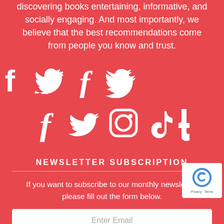discovering books entertaining, informative, and socially engaging. And most importantly, we believe that the best recommendations come from people you know and trust.
[Figure (illustration): Five white social media icons on red background: Facebook, Twitter, Instagram, TikTok, Tumblr]
NEWSLETTER SUBSCRIPTION
If you want to subscribe to our monthly newsletter, please fill out the form below.
Enter Email